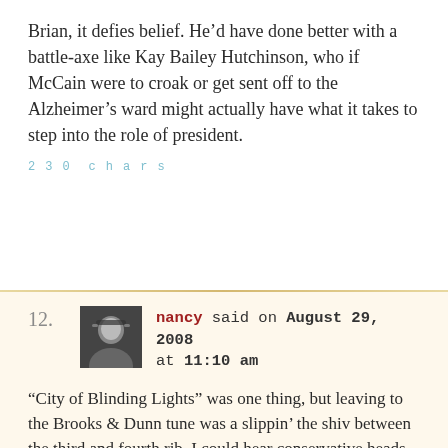Brian, it defies belief. He’d have done better with a battle-axe like Kay Bailey Hutchinson, who if McCain were to croak or get sent off to the Alzheimer’s ward might actually have what it takes to step into the role of president.
230 chars
nancy said on August 29, 2008 at 11:10 am
“City of Blinding Lights” was one thing, but leaving to the Brooks & Dunn tune was a slippin’ the shiv between the third and fourth rib. I could hear conservative heads exploding all over the country.